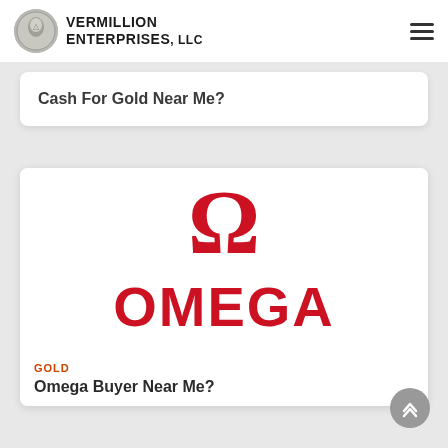VERMILLION ENTERPRISES, LLC
Cash For Gold Near Me?
[Figure (logo): Omega brand logo: large red Greek omega symbol above bold red OMEGA text on white background]
GOLD
Omega Buyer Near Me?